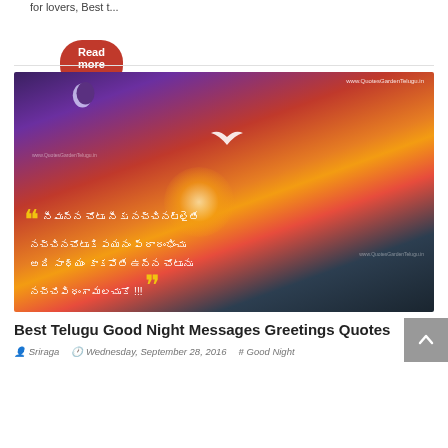for lovers, Best t...
Read more »
[Figure (photo): A Telugu good night quote image showing a sunset over the ocean with a bird in flight and crescent moon. Yellow quotation marks frame Telugu script text. Watermark: www.QuotesGardenTelugu.in]
Best Telugu Good Night Messages Greetings Quotes
Sriraga   Wednesday, September 28, 2016   # Good Night